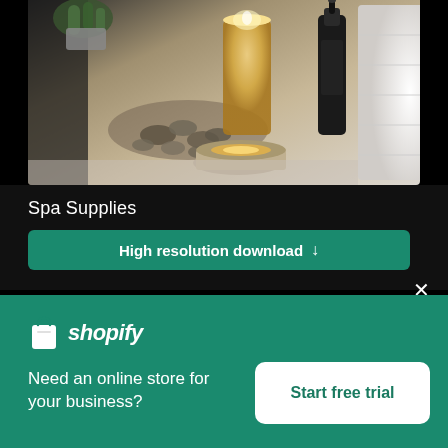[Figure (photo): Spa supplies flat lay: stones, candles in tin and tall glass, dark dropper bottle, folded white towels, succulent plant on grey background]
Spa Supplies
High resolution download ↓
[Figure (logo): Shopify logo: shopping bag icon and italic wordmark 'shopify' in white on green background]
Need an online store for your business?
Start free trial